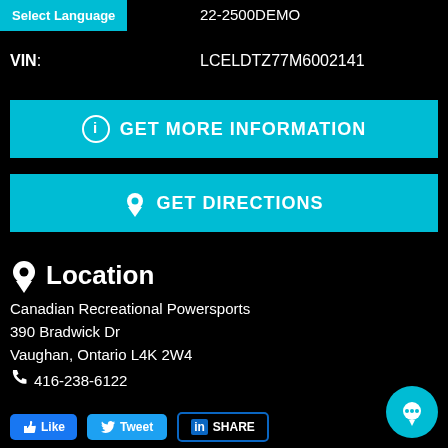Select Language
22-2500DEMO
VIN: LCELDTZ77M6002141
GET MORE INFORMATION
GET DIRECTIONS
Location
Canadian Recreational Powersports
390 Bradwick Dr
Vaughan, Ontario L4K 2W4
416-238-6122
Like  Tweet  SHARE